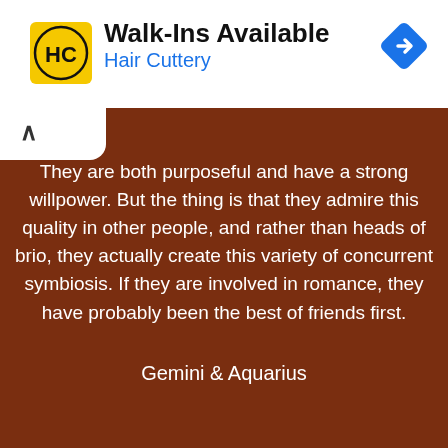[Figure (logo): Hair Cuttery ad banner with HC logo, Walk-Ins Available text, blue navigation diamond icon]
They are both purposeful and have a strong willpower. But the thing is that they admire this quality in other people, and rather than heads of brio, they actually create this variety of concurrent symbiosis. If they are involved in romance, they have probably been the best of friends first.
Gemini & Aquarius